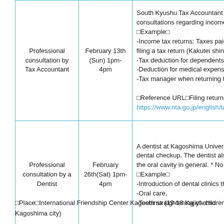| Service | Date | Details |
| --- | --- | --- |
| Professional consultation by Tax Accountant | February 13th (Sun) 1pm-4pm | South Kyushu Tax Accountant As... to consultations regarding income... □Example□ -Income tax returns: Taxes paid n... filing a tax return (Kakutei shinko... -Tax deduction for dependents of... -Deduction for medical expenses... -Tax manager when returning to c... □Reference URL□Filing returns fo... https://www.nta.go.jp/english/taxe... |
| Professional consultation by a Dentist | February 26th(Sat) 1pm-4pm | A dentist at Kagoshima University H... dental checkup. The dentist also pr... the oral cavity in general. * No trea... □Example□ -Introduction of dental clinics that y... -Oral care, -Teeth straightening of children, etc... |
□Place□International Friendship Center Kagoshima (19-18 Kajiya-cho Kagoshima city)